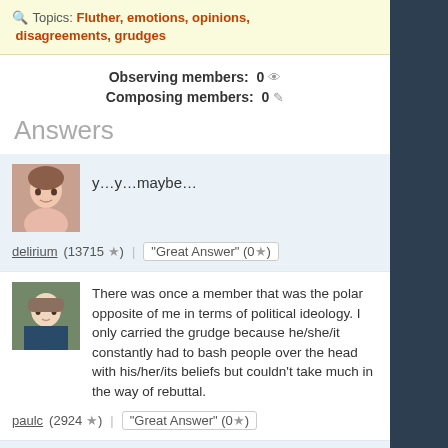Topics: Fluther, emotions, opinions, disagreements, grudges
Observing members: 0
Composing members: 0
Answers
y…y…maybe…
delirium (13715 ★) "Great Answer" (0★)
There was once a member that was the polar opposite of me in terms of political ideology. I only carried the grudge because he/she/it constantly had to bash people over the head with his/her/its beliefs but couldn't take much in the way of rebuttal.
paulc (2924 ★) "Great Answer" (0★)
I try really hard to keep my lurve for